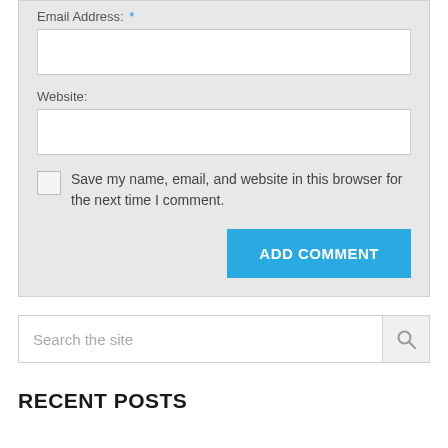Email Address: *
Website:
Save my name, email, and website in this browser for the next time I comment.
ADD COMMENT
Search the site
RECENT POSTS